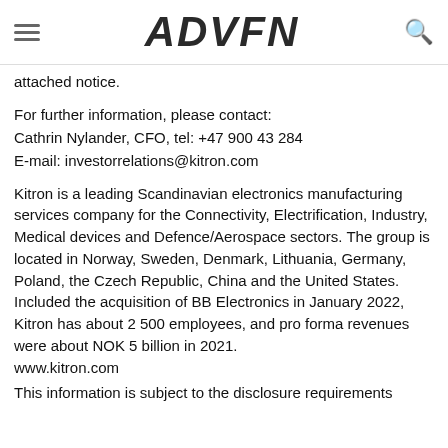ADVFN
attached notice.
For further information, please contact:
Cathrin Nylander, CFO, tel: +47 900 43 284
E-mail: investorrelations@kitron.com
Kitron is a leading Scandinavian electronics manufacturing services company for the Connectivity, Electrification, Industry, Medical devices and Defence/Aerospace sectors. The group is located in Norway, Sweden, Denmark, Lithuania, Germany, Poland, the Czech Republic, China and the United States. Included the acquisition of BB Electronics in January 2022, Kitron has about 2 500 employees, and pro forma revenues were about NOK 5 billion in 2021.
www.kitron.com
This information is subject to the disclosure requirements